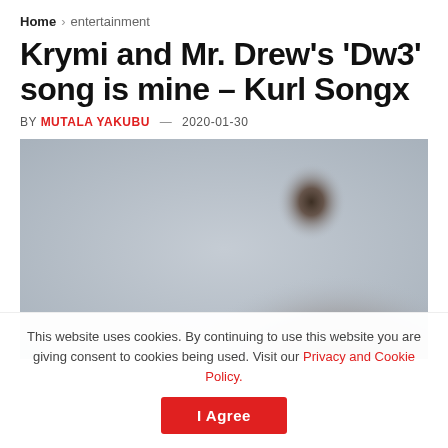Home > entertainment
Krymi and Mr. Drew's 'Dw3' song is mine – Kurl Songx
BY MUTALA YAKUBU — 2020-01-30
[Figure (photo): Portrait photo of Kurl Songx against a grey background, wearing a blue outfit]
This website uses cookies. By continuing to use this website you are giving consent to cookies being used. Visit our Privacy and Cookie Policy.
I Agree